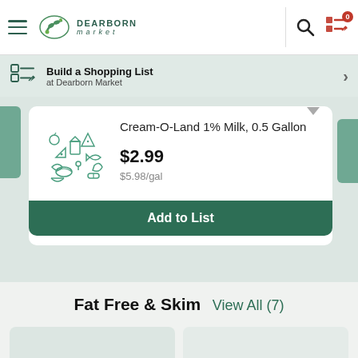Dearborn Market — navigation bar with hamburger menu, logo, search icon, and list icon
Build a Shopping List at Dearborn Market
[Figure (illustration): Product image placeholder with scattered grocery icons (milk, cheese, pizza, etc.) in teal outline style]
Cream-O-Land 1% Milk, 0.5 Gallon
$2.99
$5.98/gal
Add to List
Fat Free & Skim View All (7)